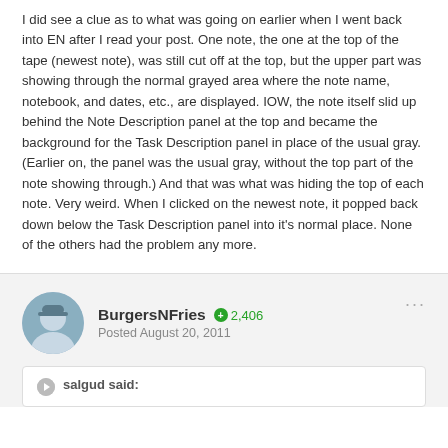I did see a clue as to what was going on earlier when I went back into EN after I read your post. One note, the one at the top of the tape (newest note), was still cut off at the top, but the upper part was showing through the normal grayed area where the note name, notebook, and dates, etc., are displayed. IOW, the note itself slid up behind the Note Description panel at the top and became the background for the Task Description panel in place of the usual gray. (Earlier on, the panel was the usual gray, without the top part of the note showing through.) And that was what was hiding the top of each note. Very weird. When I clicked on the newest note, it popped back down below the Task Description panel into it's normal place. None of the others had the problem any more.
BurgersNFries · 2,406 · Posted August 20, 2011
salgud said: